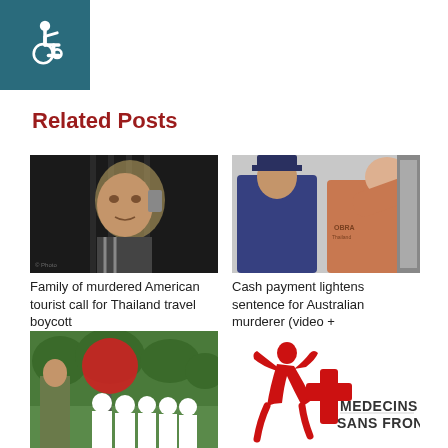[Figure (logo): Wheelchair accessibility icon on teal background]
Related Posts
[Figure (photo): Elderly man behind bars holding phone - related to story about family of murdered American tourist calling for Thailand travel boycott]
Family of murdered American tourist call for Thailand travel boycott
[Figure (photo): Thai police officer and a man covering his face - related to cash payment lightens sentence story]
Cash payment lightens sentence for Australian murderer (video +
[Figure (photo): Military personnel and women in white hijabs with red flag - related to teachers closing Southern Thailand schools]
Teachers close Southern Thailand schools
[Figure (logo): Medecins Sans Frontieres (MSF) logo - red figure with red cross design]
Someone is harassing MSF in Rakhine State